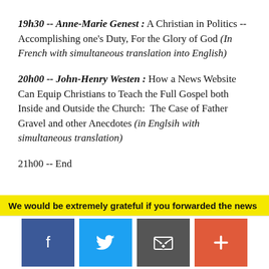19h30 -- Anne-Marie Genest : A Christian in Politics -- Accomplishing one's Duty, For the Glory of God (In French with simultaneous translation into English)
20h00 -- John-Henry Westen : How a News Website Can Equip Christians to Teach the Full Gospel both Inside and Outside the Church: The Case of Father Gravel and other Anecdotes (in Englsih with simultaneous translation)
21h00 -- End
We would be extremely grateful if you forwarded the news
[Figure (infographic): Social media share buttons: Facebook (blue), Twitter (light blue), Email (dark grey), More/Plus (orange-red)]